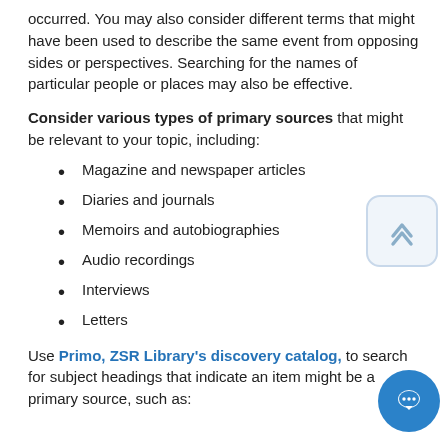occurred. You may also consider different terms that might have been used to describe the same event from opposing sides or perspectives. Searching for the names of particular people or places may also be effective.
Consider various types of primary sources that might be relevant to your topic, including:
Magazine and newspaper articles
Diaries and journals
Memoirs and autobiographies
Audio recordings
Interviews
Letters
Use Primo, ZSR Library's discovery catalog, to search for subject headings that indicate an item might be a primary source, such as: